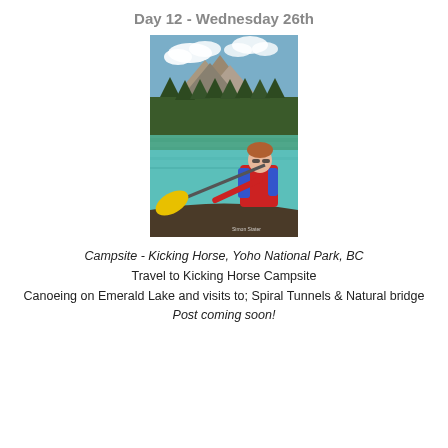Day 12 - Wednesday 26th
[Figure (photo): Person canoeing on Emerald Lake with mountains and forest in background, bright turquoise water, yellow paddle, person wearing red jacket and blue life vest]
Campsite - Kicking Horse, Yoho National Park, BC
Travel to Kicking Horse Campsite
Canoeing on Emerald Lake and visits to; Spiral Tunnels & Natural bridge
Post coming soon!